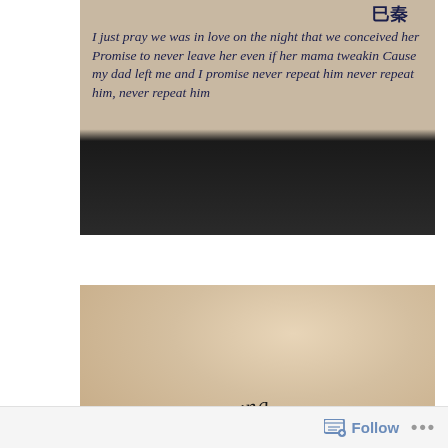[Figure (photo): Close-up photo of an arm tattoo with script text reading: I just pray we was in love on the night that we conceived her Promise to never leave her even if her mama tweakin Cause my dad left me and I promise never repeat him never repeat him, never repeat him. Background transitions from skin tone to dark black.]
[Figure (photo): Photo of a wrist/forearm tattoo on pale skin against a white fabric background reading 'forever young' in cursive script.]
Follow ...